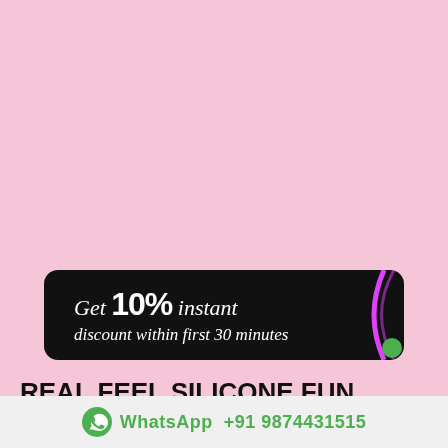[Figure (infographic): Promotional banner on black rounded rectangle background showing 'Get 10% instant' text with a magenta/pink curved line graphic on the right. Second partially visible line reads 'discount within first 30 minutes'.]
REAL FEEL SILICONE FUN VIBRATOR FV-015
WhatsApp  +91 9874431515